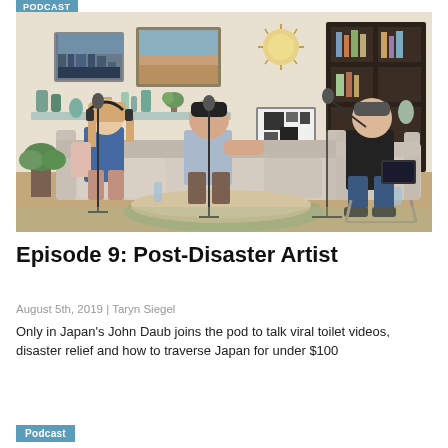Podcast
[Figure (photo): Three people seated in a living room podcast studio setting with microphones. A woman with headphones on the left, a man in the center on a couch, and another man in a black shirt on the right in an armchair. Bookshelves, artwork, and decor visible in the background.]
Episode 9: Post-Disaster Artist
August 5th, 2019 | Taryn Siegel
Only in Japan's John Daub joins the pod to talk viral toilet videos, disaster relief and how to traverse Japan for under $100
Podcast